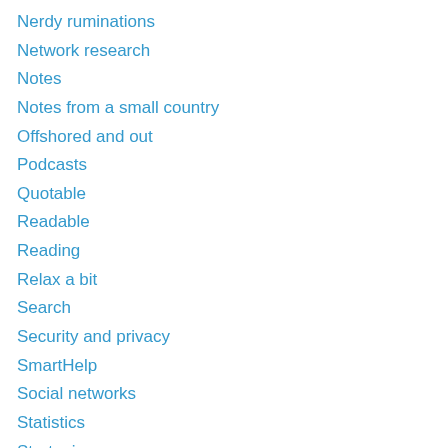Nerdy ruminations
Network research
Notes
Notes from a small country
Offshored and out
Podcasts
Quotable
Readable
Reading
Relax a bit
Search
Security and privacy
SmartHelp
Social networks
Statistics
Strategic
Teaching
Teaching hacks
Technology strategy
The thoughtful manager